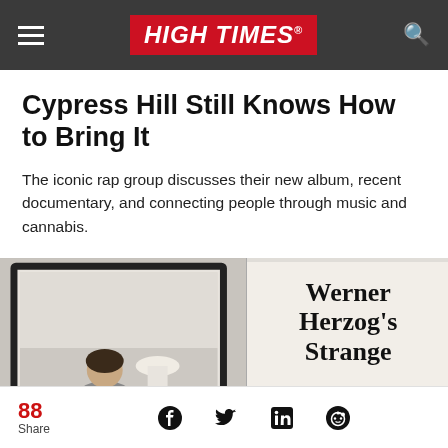HIGH TIMES
Cypress Hill Still Knows How to Bring It
The iconic rap group discusses their new album, recent documentary, and connecting people through music and cannabis.
[Figure (photo): Left: photo of a man seated in a chair with a lamp beside him inside a framed display. Right: partial article card showing text 'Werner Herzog's Strange' in large serif font.]
88 Share — Facebook, Twitter, LinkedIn, Reddit share icons